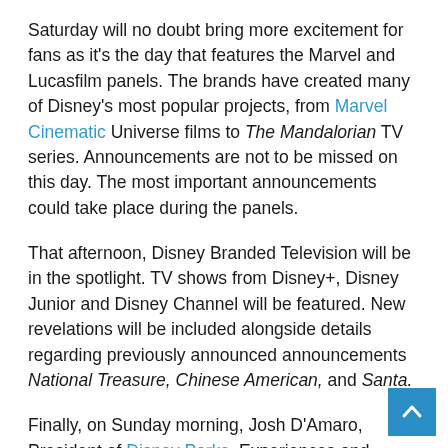Saturday will no doubt bring more excitement for fans as it's the day that features the Marvel and Lucasfilm panels. The brands have created many of Disney's most popular projects, from Marvel Cinematic Universe films to The Mandalorian TV series. Announcements are not to be missed on this day. The most important announcements could take place during the panels.
That afternoon, Disney Branded Television will be in the spotlight. TV shows from Disney+, Disney Junior and Disney Channel will be featured. New revelations will be included alongside details regarding previously announced announcements National Treasure, Chinese American, and Santa.
Finally, on Sunday morning, Josh D'Amaro, President of Disney Parks, Experiences and Products, will unveil new aspects of Disney Parks, Disney Cruise Line, and more. Later in the afternoon, guests will be treated to a performance of Disney Princess – The Concert. Singers will understand, Susan Egan